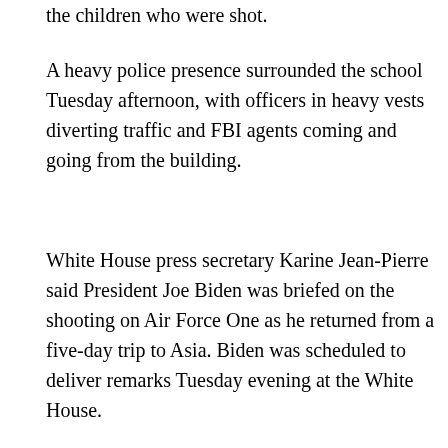the children who were shot.
A heavy police presence surrounded the school Tuesday afternoon, with officers in heavy vests diverting traffic and FBI agents coming and going from the building.
White House press secretary Karine Jean-Pierre said President Joe Biden was briefed on the shooting on Air Force One as he returned from a five-day trip to Asia. Biden was scheduled to deliver remarks Tuesday evening at the White House.
Uvalde is home to about 16,000 people and is the seat of
[Figure (screenshot): BitLife advertisement banner with cyan/blue background. Shows BitLife logo in yellow text, sperm icon, 'NOW WITH GOD MODE' text with lightning bolt. Includes pointing hand graphics and close/help buttons in top right corner.]